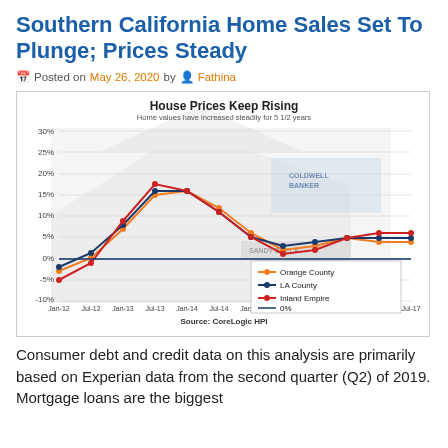Southern California Home Sales Set To Plunge; Prices Steady
Posted on May 26, 2020 by Fathina
[Figure (line-chart): Line chart showing home price appreciation year-over-year for Orange County, LA County, and Inland Empire from Jan 2012 to Jul 2017. All three lines dip negative in early 2012, then rise sharply to peak around 20-24% in mid-2013, then decline to around 3-8% by 2015-2017.]
Consumer debt and credit data on this analysis are primarily based on Experian data from the second quarter (Q2) of 2019. Mortgage loans are the biggest